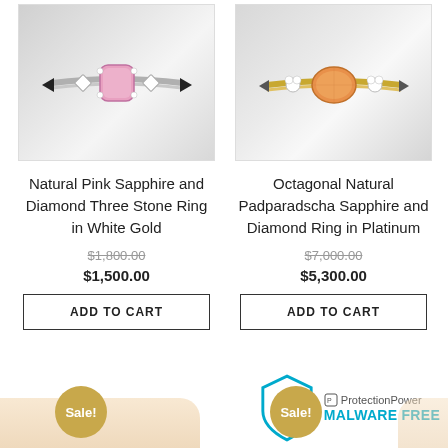[Figure (photo): Natural Pink Sapphire ring with pink center stone and diamond accents on white gold band]
[Figure (photo): Octagonal Padparadscha Sapphire ring with orange-pink center stone and diamond accents on platinum band]
Natural Pink Sapphire and Diamond Three Stone Ring in White Gold
Octagonal Natural Padparadscha Sapphire and Diamond Ring in Platinum
$1,800.00 (strikethrough)
$1,500.00
$7,000.00 (strikethrough)
$5,300.00
ADD TO CART
ADD TO CART
[Figure (logo): ProtectionPower MALWARE FREE badge with shield icon and lock]
Sale!
Sale!